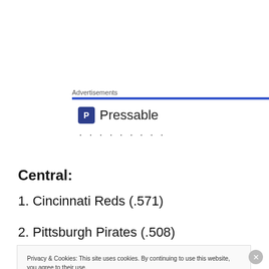Advertisements
[Figure (logo): Pressable logo with 'P' icon and 'Pressable' text, followed by a row of dots]
Central:
1. Cincinnati Reds (.571)
2. Pittsburgh Pirates (.508)
Privacy & Cookies: This site uses cookies. By continuing to use this website, you agree to their use. To find out more, including how to control cookies, see here: Cookie Policy